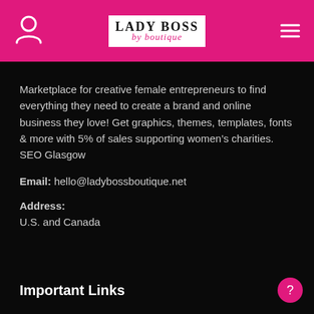Lady Boss by Boutique
Marketplace for creative female entrepreneurs to find everything they need to create a brand and online business they love! Get graphics, themes, templates, fonts & more with 5% of sales supporting women's charities. SEO Glasgow
Email: hello@ladybossboutique.net
Address:
U.S. and Canada
Important Links